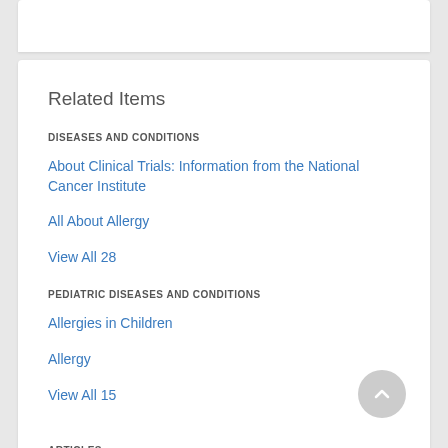Related Items
DISEASES AND CONDITIONS
About Clinical Trials: Information from the National Cancer Institute
All About Allergy
View All 28
PEDIATRIC DISEASES AND CONDITIONS
Allergies in Children
Allergy
View All 15
ARTICLES